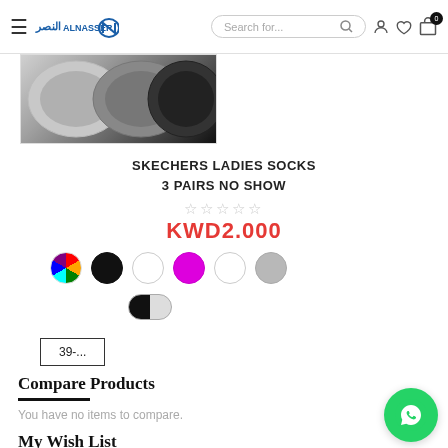ALNASSER — Search for...
[Figure (photo): Partial product image showing Skechers ladies socks in grey/black tones]
SKECHERS LADIES SOCKS 3 PAIRS NO SHOW
☆☆☆☆☆
KWD2.000
[Figure (other): Color swatches: multicolor, black, white, magenta, white, gray in row 1; black-white half in row 2]
39-...
Compare Products
You have no items to compare.
My Wish List